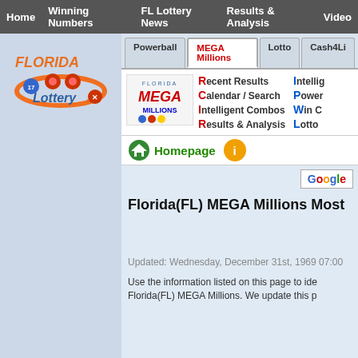Home | Winning Numbers | FL Lottery News | Results & Analysis | Video
[Figure (logo): Florida Lottery logo with orange and blue text and lottery balls]
Powerball | MEGA Millions | Lotto | Cash4Li...
[Figure (logo): Florida MEGA Millions logo]
Recent Results
Calendar / Search
Intelligent Combos
Results & Analysis
Intelli...
Powe...
Win C...
Lotto...
Homepage
Florida(FL) MEGA Millions Most
Updated: Wednesday, December 31st, 1969 07:00
Use the information listed on this page to ide... Florida(FL) MEGA Millions. We update this p...